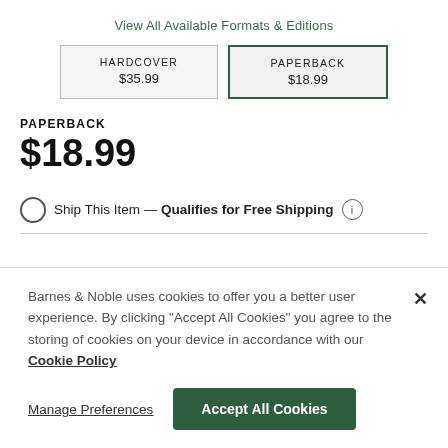View All Available Formats & Editions
| HARDCOVER
$35.99 | PAPERBACK
$18.99 |
PAPERBACK
$18.99
Ship This Item — Qualifies for Free Shipping
Barnes & Noble uses cookies to offer you a better user experience. By clicking "Accept All Cookies" you agree to the storing of cookies on your device in accordance with our Cookie Policy
Manage Preferences
Accept All Cookies